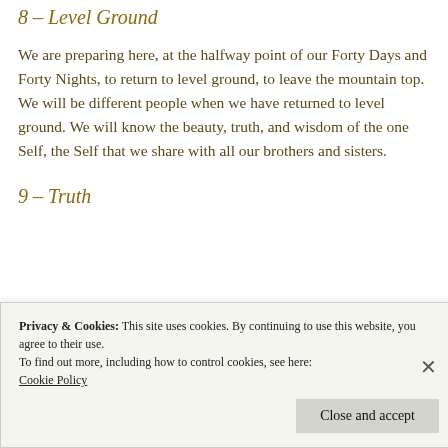8 – Level Ground
We are preparing here, at the halfway point of our Forty Days and Forty Nights, to return to level ground, to leave the mountain top. We will be different people when we have returned to level ground. We will know the beauty, truth, and wisdom of the one Self, the Self that we share with all our brothers and sisters.
9 – Truth
Privacy & Cookies: This site uses cookies. By continuing to use this website, you agree to their use.
To find out more, including how to control cookies, see here:
Cookie Policy
Close and accept